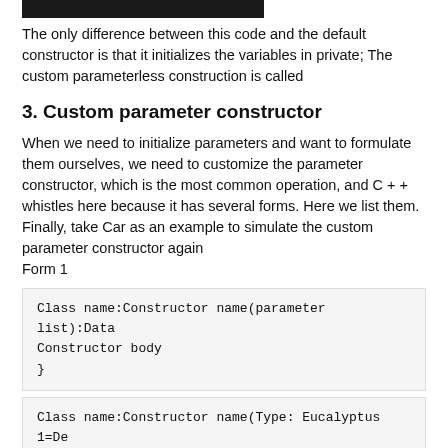[Figure (other): Black rectangular bar at top of page]
The only difference between this code and the default constructor is that it initializes the variables in private; The custom parameterless construction is called
3. Custom parameter constructor
When we need to initialize parameters and want to formulate them ourselves, we need to customize the parameter constructor, which is the most common operation, and C + + whistles here because it has several forms. Here we list them. Finally, take Car as an example to simulate the custom parameter constructor again
Form 1
[Figure (screenshot): Code block showing: Class name:Constructor name(parameter list):Data
Constructor body
}]
[Figure (screenshot): Code block showing: Class name:Constructor name(Type: Eucalyptus 1=De]